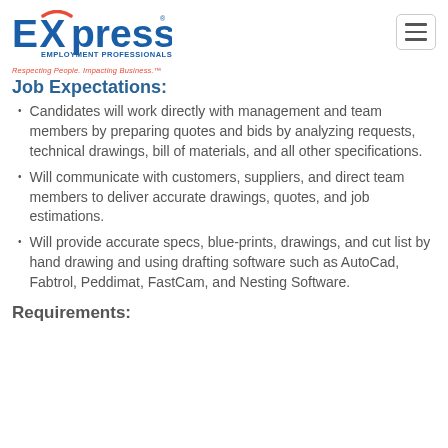[Figure (logo): Express Employment Professionals logo with blue text and red/orange swoosh element]
Respecting People. Impacting Business.™
Job Expectations:
Candidates will work directly with management and team members by preparing quotes and bids by analyzing requests, technical drawings, bill of materials, and all other specifications.
Will communicate with customers, suppliers, and direct team members to deliver accurate drawings, quotes, and job estimations.
Will provide accurate specs, blue-prints, drawings, and cut list by hand drawing and using drafting software such as AutoCad, Fabtrol, Peddimat, FastCam, and Nesting Software.
Requirements: